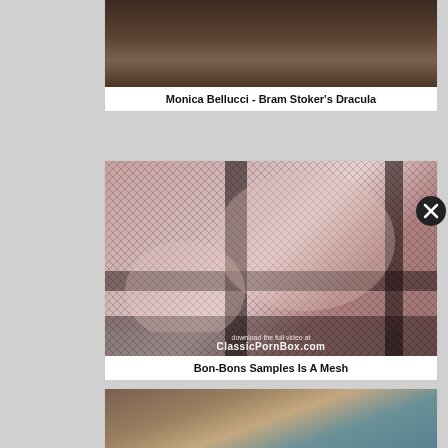Monica Bellucci - Bram Stoker's Dracula
[Figure (photo): Partial image of a video thumbnail at top of page, cropped]
Bon-Bons Samples Is A Mesh
[Figure (photo): Video thumbnail with watermark text 'download the full video at ClassicPornBox.com']
[Figure (photo): Third video thumbnail showing two people, partially visible at bottom of page]